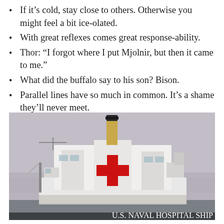If it's cold, stay close to others. Otherwise you might feel a bit ice-olated.
With great reflexes comes great response-ability.
Thor: “I forgot where I put Mjolnir, but then it came to me.”
What did the buffalo say to his son? Bison.
Parallel lines have so much in common. It’s a shame they’ll never meet.
[Figure (photo): A large white U.S. Naval Hospital Ship seen from the front/bow, featuring a prominent red cross on its hull, with a tall smokestack, various ship structures, and a hazy sky in the background. Text at the bottom reads U.S. NAVAL HOSPITAL SHIP.]